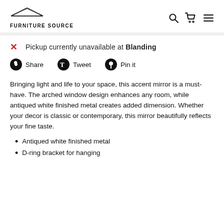FURNITURE SOURCE
Pickup currently unavailable at Blanding
[Figure (other): Social sharing buttons: Share, Tweet, Pin it]
Bringing light and life to your space, this accent mirror is a must-have. The arched window design enhances any room, while antiqued white finished metal creates added dimension. Whether your decor is classic or contemporary, this mirror beautifully reflects your fine taste.
Antiqued white finished metal
D-ring bracket for hanging